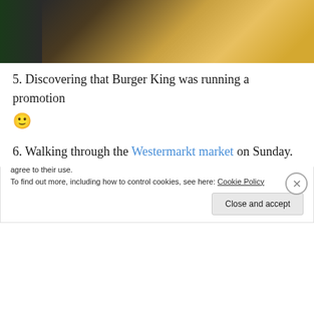[Figure (photo): Photo of a cheese market stall with a person visible and various cheeses displayed]
5. Discovering that Burger King was running a promotion 🙂
6. Walking through the Westermarkt market on Sunday.
[Figure (photo): Photo of a sign reading BIJ ONS IN DE JORDAAN at what appears to be a market]
Privacy & Cookies: This site uses cookies. By continuing to use this website, you agree to their use.
To find out more, including how to control cookies, see here: Cookie Policy